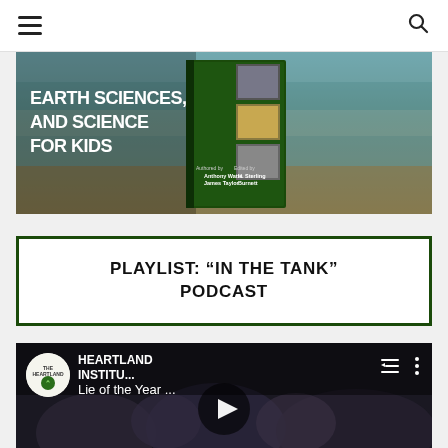Navigation bar with hamburger menu and search icon
[Figure (photo): Book cover banner showing 'Earth Sciences, and Science for Kids' with authors Anthony Watts, James Taylor, edited by H. Sterling Burnett. Green book on wooden background with collage photos.]
PLAYLIST: “IN THE TANK” PODCAST
[Figure (screenshot): YouTube video thumbnail showing Heartland Institute logo and title 'Lie of the Year...' with play button overlay and audience in background.]